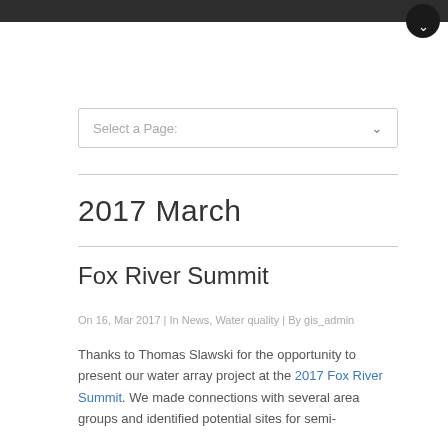Select a Page:
2017 March
Fox River Summit
On 16, Mar 2017 | In News, Water quality | By gis_admin
Thanks to Thomas Slawski for the opportunity to present our water array project at the 2017 Fox River Summit. We made connections with several area groups and identified potential sites for semi-